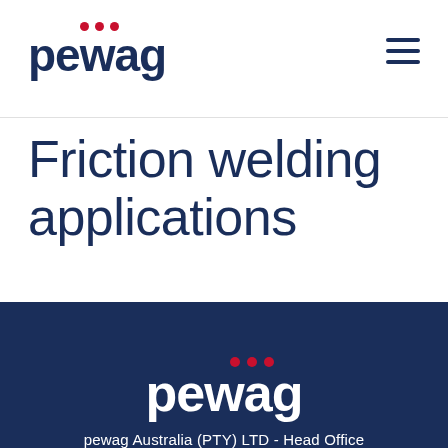[Figure (logo): pewag logo with three red dots above the letter a, dark navy wordmark, top-left header]
[Figure (other): Hamburger menu icon, three horizontal dark navy bars, top-right corner]
Friction welding applications
[Figure (logo): pewag logo with three red dots above the letter a, white wordmark on dark navy background, centered in footer]
pewag Australia (PTY) LTD - Head Office